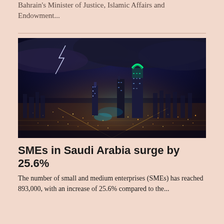Bahrain's Minister of Justice, Islamic Affairs and Endowment...
[Figure (photo): Aerial night cityscape of Riyadh, Saudi Arabia, showing the illuminated skyline with the Kingdom Centre Tower glowing in green, lightning in the dark stormy sky, and the city lights spread across the landscape.]
SMEs in Saudi Arabia surge by 25.6%
The number of small and medium enterprises (SMEs) has reached 893,000, with an increase of 25.6% compared to the...